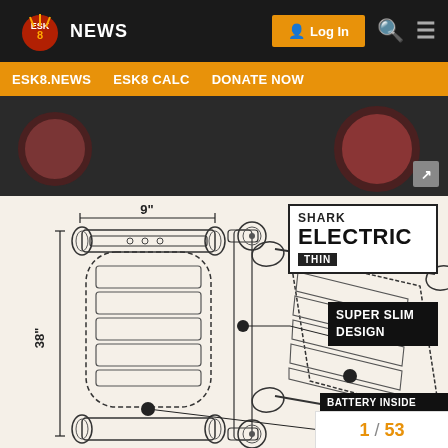ESK8.NEWS | Log In | Search | Menu
ESK8.NEWS  ESK8 CALC  DONATE NOW
[Figure (photo): Top portion of electric skateboard image, showing wheels against dark background, with expand icon]
[Figure (engineering-diagram): Technical schematic drawing of Shark Electric Thin electric skateboard showing top view (38 inch length, 9 inch width) and side view with wheel trucks, battery compartment, with labels: SHARK ELECTRIC THIN, SUPER SLIM DESIGN, BATTERY INSIDE]
1 / 53